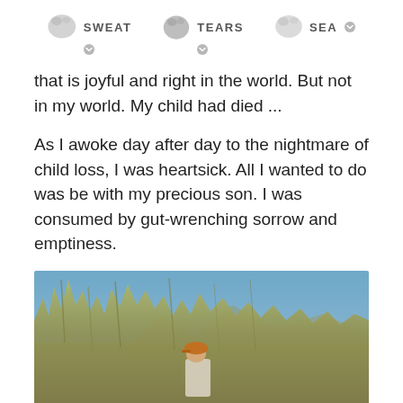SWEAT  TEARS  SEA
that is joyful and right in the world. But not in my world. My child had died ...

As I awoke day after day to the nightmare of child loss, I was heartsick. All I wanted to do was be with my precious son. I was consumed by gut-wrenching sorrow and emptiness.
[Figure (photo): Outdoor photograph showing a person wearing an orange cap standing among tall reeds or dry grass, with mountains and blue sky in the background.]